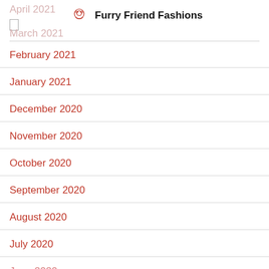Furry Friend Fashions
February 2021
January 2021
December 2020
November 2020
October 2020
September 2020
August 2020
July 2020
June 2020
April 2020